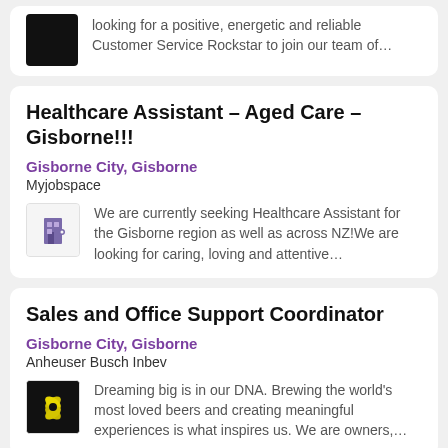looking for a positive, energetic and reliable Customer Service Rockstar to join our team of...
Healthcare Assistant – Aged Care – Gisborne!!!
Gisborne City, Gisborne
Myjobspace
We are currently seeking Healthcare Assistant for the Gisborne region as well as across NZ!We are looking for caring, loving and attentive...
Sales and Office Support Coordinator
Gisborne City, Gisborne
Anheuser Busch Inbev
Dreaming big is in our DNA. Brewing the world's most loved beers and creating meaningful experiences is what inspires us. We are owners,...